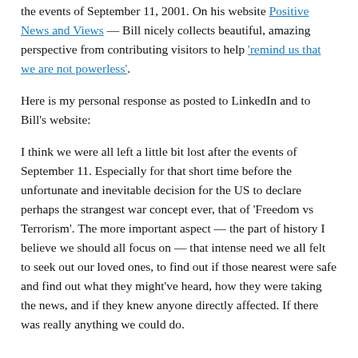the events of September 11, 2001. On his website Positive News and Views — Bill nicely collects beautiful, amazing perspective from contributing visitors to help 'remind us that we are not powerless'.
Here is my personal response as posted to LinkedIn and to Bill's website:
I think we were all left a little bit lost after the events of September 11. Especially for that short time before the unfortunate and inevitable decision for the US to declare perhaps the strangest war concept ever, that of 'Freedom vs Terrorism'. The more important aspect — the part of history I believe we should all focus on — that intense need we all felt to seek out our loved ones, to find out if those nearest were safe and find out what they might've heard, how they were taking the news, and if they knew anyone directly affected. If there was really anything we could do.